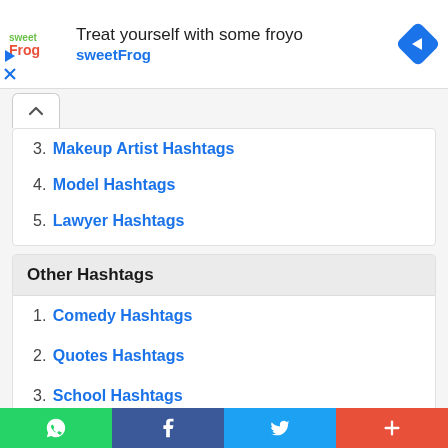[Figure (screenshot): Advertisement banner for sweetFrog frozen yogurt with logo, text 'Treat yourself with some froyo sweetFrog', navigation arrow icon, and ad controls]
3. Makeup Artist Hashtags
4. Model Hashtags
5. Lawyer Hashtags
Other Hashtags
1. Comedy Hashtags
2. Quotes Hashtags
3. School Hashtags
4. Work Hashtags
WhatsApp | Facebook | Twitter | More